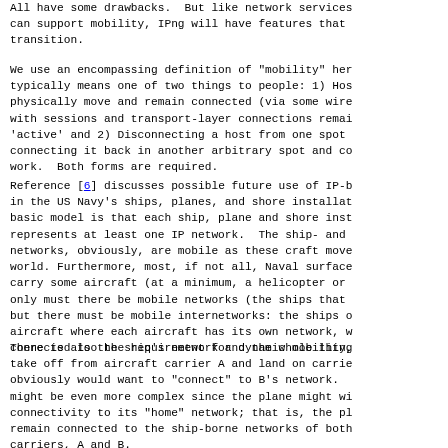All have some drawbacks.  But like network services can support mobility, IPng will have features that transition.
We use an encompassing definition of "mobility" here. It typically means one of two things to people: 1) Hosts physically move and remain connected (via some wireless link) with sessions and transport-layer connections remaining 'active' and 2) Disconnecting a host from one spot and connecting it back in another arbitrary spot and continuing to work.  Both forms are required.
Reference [6] discusses possible future use of IP-based in the US Navy's ships, planes, and shore installations. The basic model is that each ship, plane and shore installation represents at least one IP network.  The ship- and plane- networks, obviously, are mobile as these craft move around the world. Furthermore, most, if not all, Naval surface craft carry some aircraft (at a minimum, a helicopter or two). Not only must there be mobile networks (the ships that carry planes) but there must be mobile internetworks: the ships carrying aircraft where each aircraft has its own network, which is connected to the ship's network and the whole thing moves.
There is also the requirement for dynamic mobility, e.g., take off from aircraft carrier A and land on carrier B. It obviously would want to "connect" to B's network.  The situation might be even more complex since the plane might wish to retain connectivity to its "home" network; that is, the plane might remain connected to the ship-borne networks of both carriers, A and B.